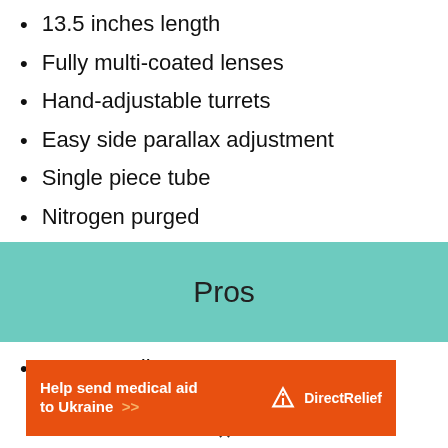13.5 inches length
Fully multi-coated lenses
Hand-adjustable turrets
Easy side parallax adjustment
Single piece tube
Nitrogen purged
Pros
Easy to adjust
[Figure (infographic): Orange advertisement banner for Direct Relief reading 'Help send medical aid to Ukraine >>' with the Direct Relief logo on the right.]